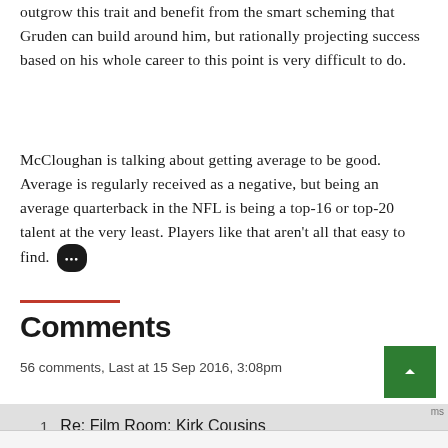outgrow this trait and benefit from the smart scheming that Gruden can build around him, but rationally projecting success based on his whole career to this point is very difficult to do.
McCloughan is talking about getting average to be good. Average is regularly received as a negative, but being an average quarterback in the NFL is being a top-16 or top-20 talent at the very least. Players like that aren't all that easy to find.
Comments
56 comments, Last at 15 Sep 2016, 3:08pm
1  Re: Film Room: Kirk Cousins